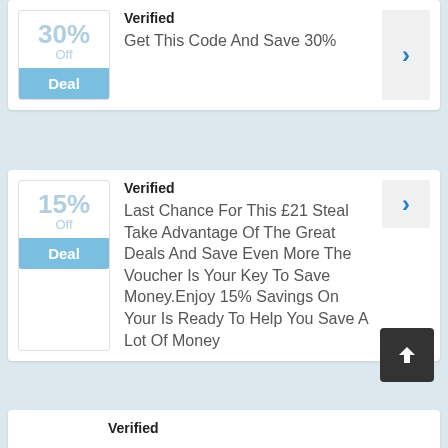[Figure (infographic): Coupon deal card: 30% Off, Verified, Get This Code And Save 30%]
[Figure (infographic): Coupon deal card: 15% Off, Verified, Last Chance For This £21 Steal Take Advantage Of The Great Deals And Save Even More The Voucher Is Your Key To Save Money.Enjoy 15% Savings On Your Is Ready To Help You Save A Lot Of Money]
[Figure (infographic): Partial coupon deal card at bottom: Verified label visible]